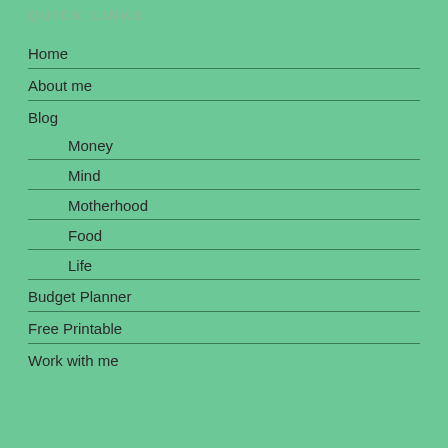QUICK LINKS
Home
About me
Blog
Money
Mind
Motherhood
Food
Life
Budget Planner
Free Printable
Work with me